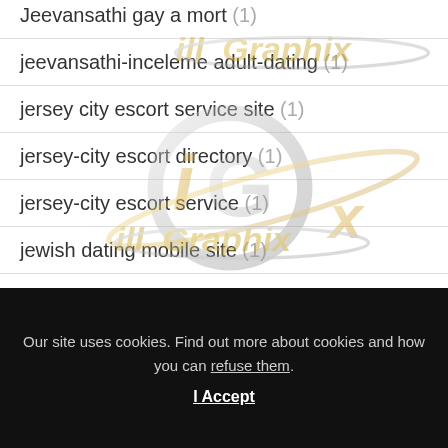Jeevansathi gay a mort (1)
jeevansathi-inceleme adult-dating (1)
jersey city escort service site (1)
jersey-city escort directory (1)
jersey-city escort service (1)
jewish dating mobile site (1)
Jewish Dating Sites visitors (1)
[Figure (logo): illGraphix watermark logo repeated multiple times across the content area — silver and gold stylized iGx logo with orbital swoosh]
Our site uses cookies. Find out more about cookies and how you can refuse them.
I Accept